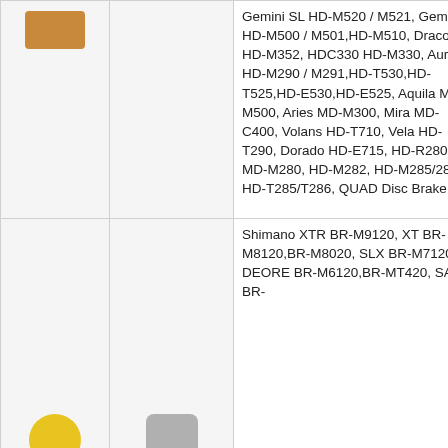| [image] | [image] | Gemini SL HD-M520 / M521, Gemini HD-M500 / M501,HD-M510, Draco2 HD-M352, HDC330 HD-M330, Auriga HD-M290 / M291,HD-T530,HD-T525,HD-E530,HD-E525, Aquila MD-M500, Aries MD-M300, Mira MD-C400, Volans HD-T710, Vela HD-T290, Dorado HD-E715, HD-R280, MD-M280, HD-M282, HD-M285/286, HD-T285/T286, QUAD Disc Brake |
| [image] | [image] | Shimano XTR BR-M9120, XT BR-M8120,BR-M8020, SLX BR-M7120, DEORE BR-M6120,BR-MT420, SAINT BR- |